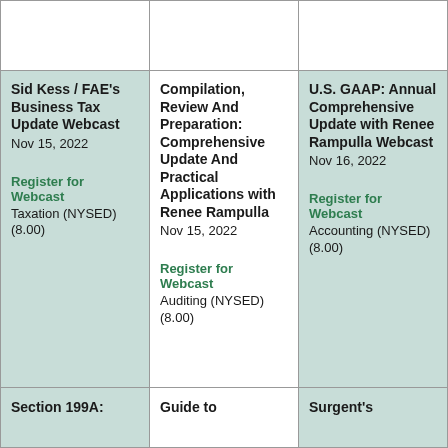| Col1 | Col2 | Col3 |
| --- | --- | --- |
|  |  |  |
| Sid Kess / FAE's Business Tax Update Webcast
Nov 15, 2022

Register for Webcast
Taxation (NYSED) (8.00) | Compilation, Review And Preparation: Comprehensive Update And Practical Applications with Renee Rampulla
Nov 15, 2022

Register for Webcast
Auditing (NYSED) (8.00) | U.S. GAAP: Annual Comprehensive Update with Renee Rampulla Webcast
Nov 16, 2022

Register for Webcast
Accounting (NYSED) (8.00) |
| Section 199A: | Guide to | Surgent's |